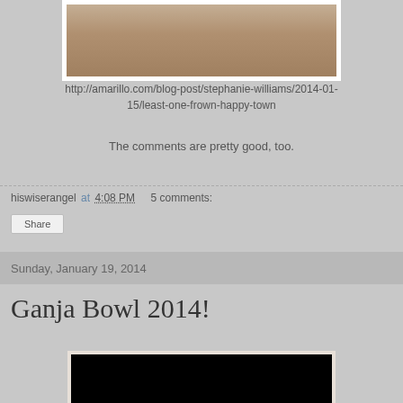[Figure (photo): Partial sepia-toned photograph showing outdoor scene with fence post or pole, cropped at top of page]
http://amarillo.com/blog-post/stephanie-williams/2014-01-15/least-one-frown-happy-town
The comments are pretty good, too.
hiswiserangel at 4:08 PM   5 comments:
Share
Sunday, January 19, 2014
Ganja Bowl 2014!
[Figure (photo): Partial photograph, mostly black, at bottom of page]